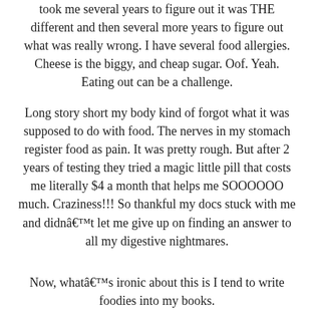took me several years to figure out it was THE different and then several more years to figure out what was really wrong. I have several food allergies. Cheese is the biggy, and cheap sugar. Oof. Yeah. Eating out can be a challenge.
Long story short my body kind of forgot what it was supposed to do with food. The nerves in my stomach register food as pain. It was pretty rough. But after 2 years of testing they tried a magic little pill that costs me literally $4 a month that helps me SOOOOOO much. Craziness!!! So thankful my docs stuck with me and didnâ€™t let me give up on finding an answer to all my digestive nightmares.
Now, whatâ€™s ironic about this is I tend to write foodies into my books.